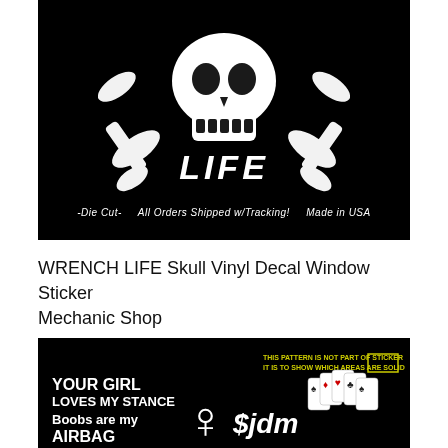[Figure (photo): Black background vinyl decal product image showing a skull with crossed wrenches and the word LIFE in stylized text. Bottom bar reads: -Die Cut- All Orders Shipped w/Tracking! Made in USA]
WRENCH LIFE Skull Vinyl Decal Window Sticker Mechanic Shop
[Figure (photo): Black background showing multiple vinyl decal designs: 'YOUR GIRL LOVES MY STANCE', 'Boobs are my AIRBAG', a silhouette figure, '$jdm' text, and a playing cards hand graphic. Top right shows pattern note text: 'THIS PATTERN IS NOT PART OF STICKER IT IS TO SHOW WHICH AREAS ARE SOLID']